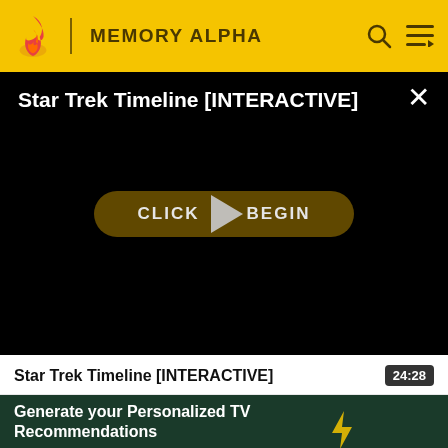MEMORY ALPHA
[Figure (screenshot): Video player overlay on black background showing title 'Star Trek Timeline [INTERACTIVE]' with a close button (X) and a golden rounded 'CLICK TO BEGIN' button with a large play triangle overlaid in the center]
Star Trek Timeline [INTERACTIVE]   24:28
[Figure (screenshot): Ad banner with dark green background showing text 'Generate your Personalized TV Recommendations' and 'BingeBot' with a lightning bolt icon]
[Figure (screenshot): Bottom strip of a video thumbnail, partially visible, grey/dark colored]